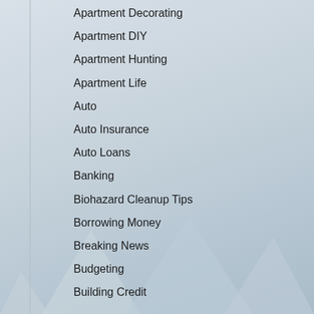Apartment Decorating
Apartment DIY
Apartment Hunting
Apartment Life
Auto
Auto Insurance
Auto Loans
Banking
Biohazard Cleanup Tips
Borrowing Money
Breaking News
Budgeting
Building Credit